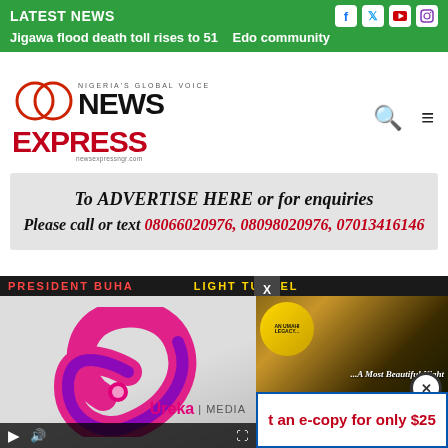LATEST NEWS   Jigawa flood death toll rises to 51   Edo community
[Figure (logo): News Express Nigeria logo with two overlapping circles and text 'NIGERIA'S GLOBAL VOICE NEWS EXPRESS newsexpressngr.com']
[Figure (other): Advertisement banner: 'To ADVERTISE HERE or for enquiries Please call or text 08066020976, 08098020976, 07013416146']
[Figure (other): Video player showing Ureka Media logo with video controls at bottom]
[Figure (other): Right side panel with 'LIGHT TUNNEL' banner, 'AN UMAHI LEGACY... A Most Beautiful Night' image with close button, and 'get an e-copy for only $25' advertisement]